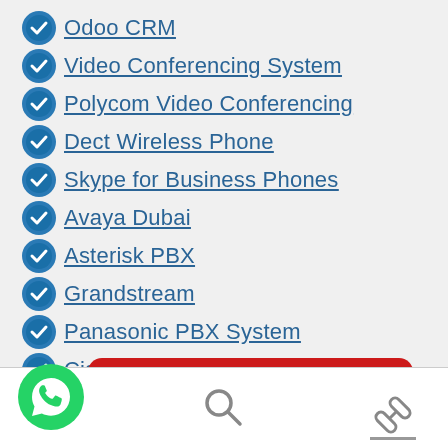Odoo CRM
Video Conferencing System
Polycom Video Conferencing
Dect Wireless Phone
Skype for Business Phones
Avaya Dubai
Asterisk PBX
Grandstream
Panasonic PBX System
Cisco Phone System
LG Eriscsson Phone System
Yeastar MyPBX
[Figure (other): Red call-to-action button labeled 'Call us now']
[Figure (other): Green WhatsApp floating button, search icon, and link icon in bottom toolbar]